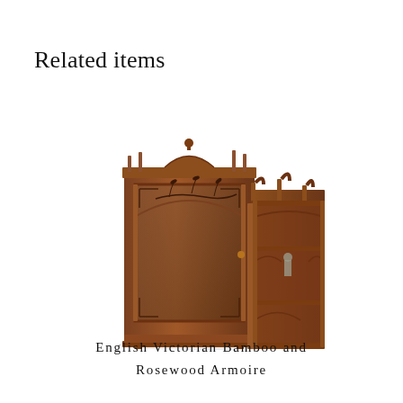Related items
[Figure (photo): Photograph of an English Victorian Bamboo and Rosewood Armoire — a tall wooden cabinet with glass-paneled door decorated with bamboo motifs and a side shelving unit with decorative carved panels]
English Victorian Bamboo and Rosewood Armoire